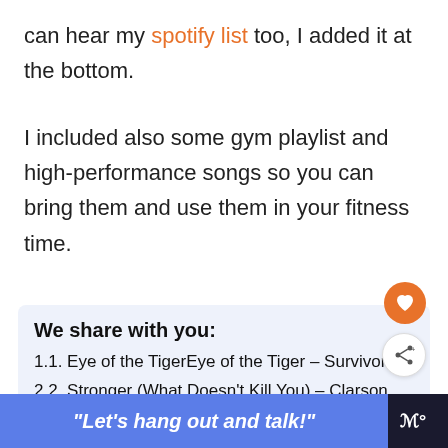can hear my spotify list too, I added it at the bottom.
I included also some gym playlist and high-performance songs so you can bring them and use them in your fitness time.
We share with you:
1.1. Eye of the TigerEye of the Tiger – Survivor
2.2. Stronger (What Doesn't Kill You) – Clarson
3.3. Lose Yourself – Eminem
"Let's hang out and talk!"